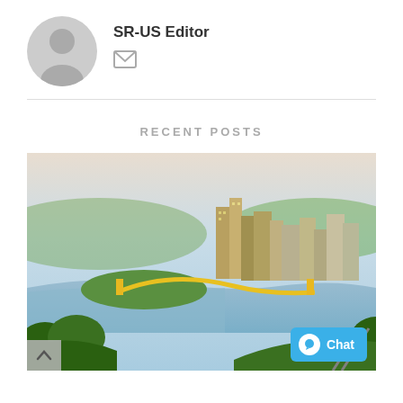SR-US Editor
[Figure (photo): Aerial view of Pittsburgh city skyline with rivers, bridges, and a red cable car (incline) in the foreground]
RECENT POSTS